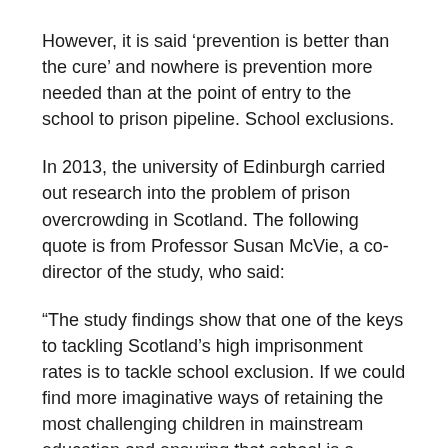However, it is said ‘prevention is better than the cure’ and nowhere is prevention more needed than at the point of entry to the school to prison pipeline. School exclusions.
In 2013, the university of Edinburgh carried out research into the problem of prison overcrowding in Scotland. The following quote is from Professor Susan McVie, a co-director of the study, who said:
“The study findings show that one of the keys to tackling Scotland’s high imprisonment rates is to tackle school exclusion. If we could find more imaginative ways of retaining the most challenging children in mainstream education and ensuring that school is a positive experience for all Scotland’s young people, this would be a